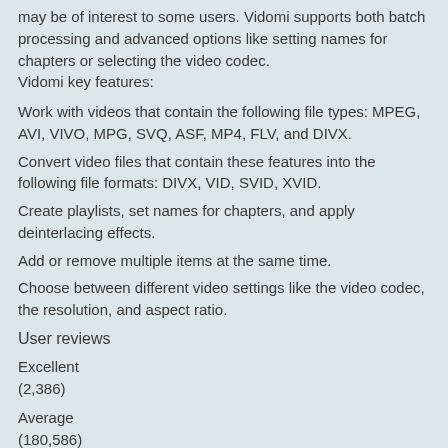may be of interest to some users. Vidomi supports both batch processing and advanced options like setting names for chapters or selecting the video codec.
Vidomi key features:
Work with videos that contain the following file types: MPEG, AVI, VIVO, MPG, SVQ, ASF, MP4, FLV, and DIVX.
Convert video files that contain these features into the following file formats: DIVX, VID, SVID, XVID.
Create playlists, set names for chapters, and apply deinterlacing effects.
Add or remove multiple items at the same time.
Choose between different video settings like the video codec, the resolution, and aspect ratio.
User reviews
Excellent
(2,386)
Average
(180,586)